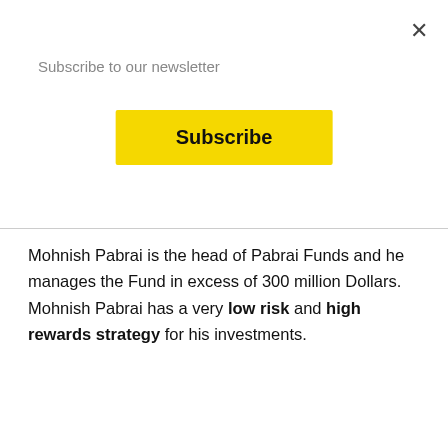Subscribe to our newsletter
[Figure (other): Yellow Subscribe button]
Mohnish Pabrai is the head of Pabrai Funds and he manages the Fund in excess of 300 million Dollars. Mohnish Pabrai has a very low risk and high rewards strategy for his investments.
To help us understand this strategy he explains the US motel industry which is dominated by the Patels of India. and how they were able to do it.
HEADS I WIN, TAILS I DON'T LOSE MUCH.